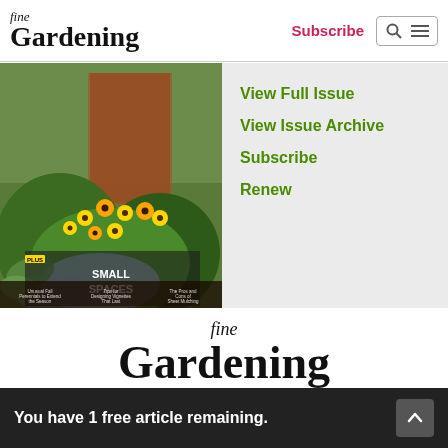fine Gardening | Subscribe
[Figure (photo): Magazine cover for Fine Gardening showing a garden with yellow black-eyed Susan flowers and text 'Small Spaces']
View Full Issue
View Issue Archive
Subscribe
Renew
[Figure (logo): Fine Gardening logo - large version in footer]
[Figure (infographic): Social media icon circles row]
You have 1 free article remaining.